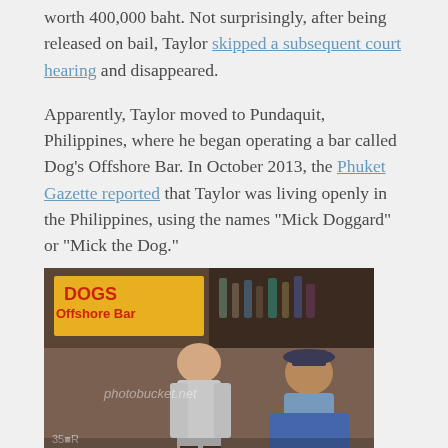worth 400,000 baht. Not surprisingly, after being released on bail, Taylor skipped a subsequent court hearing and disappeared.
Apparently, Taylor moved to Pundaquit, Philippines, where he began operating a bar called Dog's Offshore Bar. In October 2013, the Phuket Gazette reported that Taylor was living openly in the Philippines, using the names "Mick Doggard" or "Mick the Dog."
[Figure (photo): Photo of two men inside Dog's Offshore Bar. A sign reading 'DOGS Offshore Bar' is visible in the background. One man is standing, the other is seated. The image has a photobucket.net watermark.]
A few weeks later, someone opened a Facebook account under the name Jantra Weangta for the purpose of trolling Taylor and advocating for “Justice for Jantra.”